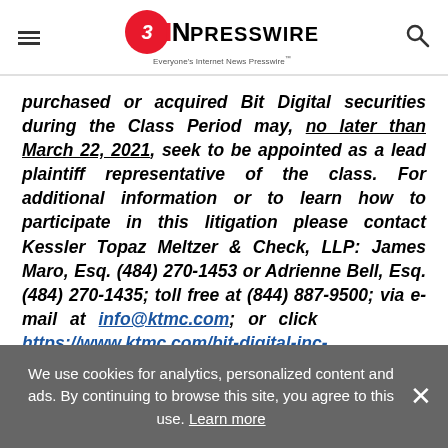EIN PRESSWIRE — Everyone's Internet News Presswire
purchased or acquired Bit Digital securities during the Class Period may, no later than March 22, 2021, seek to be appointed as a lead plaintiff representative of the class. For additional information or to learn how to participate in this litigation please contact Kessler Topaz Meltzer & Check, LLP: James Maro, Esq. (484) 270-1453 or Adrienne Bell, Esq. (484) 270-1435; toll free at (844) 887-9500; via e-mail at info@ktmc.com; or click https://www.ktmc.com/bit-digital-inc-
We use cookies for analytics, personalized content and ads. By continuing to browse this site, you agree to this use. Learn more